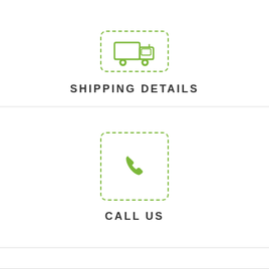[Figure (illustration): Partial green truck icon inside a dashed green rounded-corner box, top cropped]
SHIPPING DETAILS
[Figure (illustration): Green phone/telephone icon inside a dashed green rounded-corner box]
CALL US
[Figure (illustration): Green dollar sign icon inside a dashed green rounded-corner box]
OUR GUARANTEE